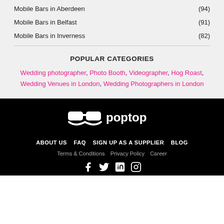Mobile Bars in Aberdeen (94)
Mobile Bars in Belfast (91)
Mobile Bars in Inverness (82)
POPULAR CATEGORIES
Wedding photographer, Photo Booth, Videographer, Hog Roast, Wedding Venues in London, Wedding Photographers in London
[Figure (logo): Poptop logo in white on black background with sunglasses icon]
ABOUT US  FAQ  SIGN UP AS A SUPPLIER  BLOG  Terms & Conditions  Privacy Policy  Career